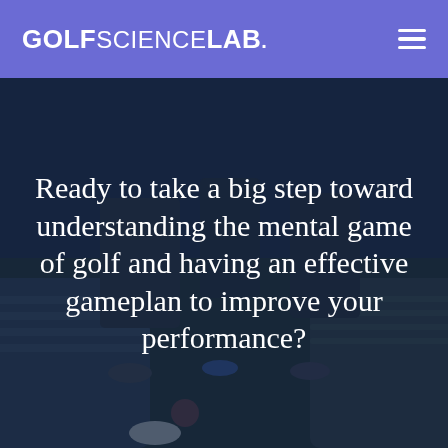GOLF SCIENCE LAB.
[Figure (photo): Background photo of people sitting in a circle on grass, viewed from above at a low angle, with a dark blue overlay applied over the image.]
Ready to take a big step toward understanding the mental game of golf and having an effective gameplan to improve your performance?